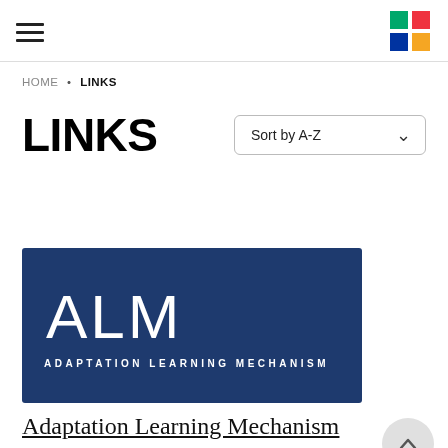Navigation header with hamburger menu and UNDP logo
HOME • LINKS
LINKS
[Figure (logo): ALM Adaptation Learning Mechanism logo — dark navy blue background with white stylized 'ALM' letters and 'ADAPTATION LEARNING MECHANISM' text below]
Adaptation Learning Mechanism
The UNDP-Adaptation Learning Mechanism is UNDP's knowledge-sharing platform on country led programmes and